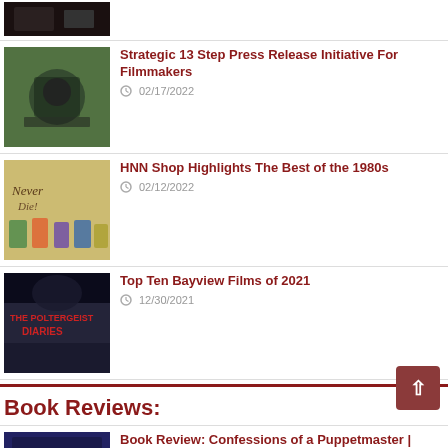[Figure (photo): Dark thumbnail image, partially visible at top]
[Figure (photo): Man operating a film camera, filmmaker with large camera rig]
Strategic 13 Step Press Release Initiative For Filmmakers
02/17/2022
[Figure (photo): Comic/cartoon style image with 'Never Die' text and animated characters]
HNN Shop Highlights The Best of the 1980s
02/12/2022
[Figure (photo): The Poltergeist Diaries movie poster - dark image with red text]
Top Ten Bayview Films of 2021
12/30/2021
Book Reviews:
[Figure (photo): Confessions of a Puppetmaster book cover - colorful horror imagery]
Book Review: Confessions of a Puppetmaster | Author: Charles Band with Adam Felber
03/15/2022
[Figure (photo): Partially visible thumbnail at bottom of page]